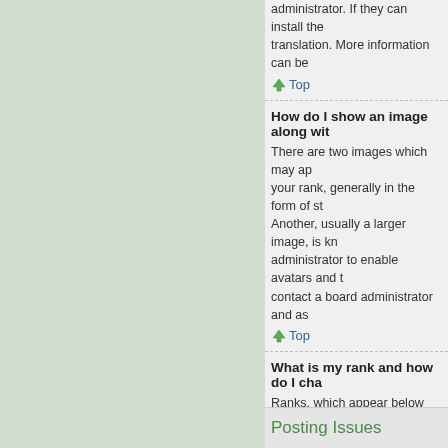administrator. If they can install the translation. More information can be
Top
How do I show an image along wit
There are two images which may ap your rank, generally in the form of st Another, usually a larger image, is kn administrator to enable avatars and t contact a board administrator and as
Top
What is my rank and how do I cha
Ranks, which appear below your use and administrators. In general, you c Please do not abuse the board by po moderator or administrator will simpl
Top
When I click the e-mail link for a u
Only registered users can send e-ma feature. This is to prevent malicious
Top
Posting Issues